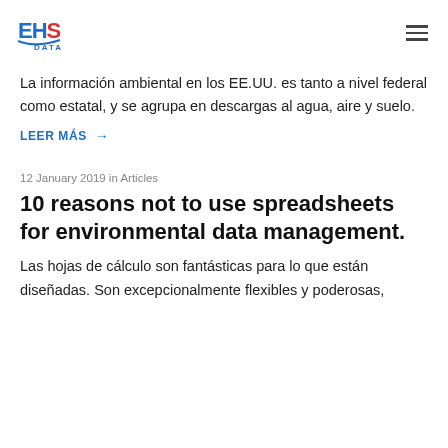EHS DATA
La información ambiental en los EE.UU. es tanto a nivel federal como estatal, y se agrupa en descargas al agua, aire y suelo.
LEER MÁS →
12 January 2019 in Articles
10 reasons not to use spreadsheets for environmental data management.
Las hojas de cálculo son fantásticas para lo que están diseñadas. Son excepcionalmente flexibles y poderosas,